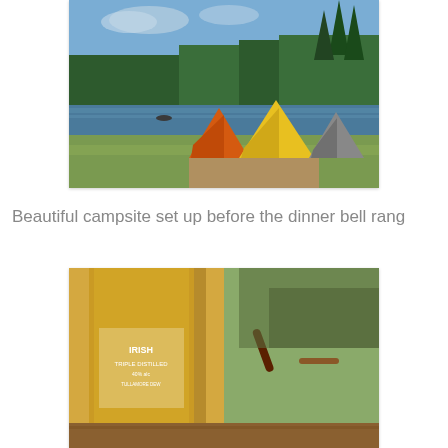[Figure (photo): Camping scene with orange and yellow dome tents set up near a lake shore with green trees in the background and blue sky]
Beautiful campsite set up before the dinner bell rang
[Figure (photo): Close-up of fishing reel and Irish whiskey bottle on a wooden surface outdoors]